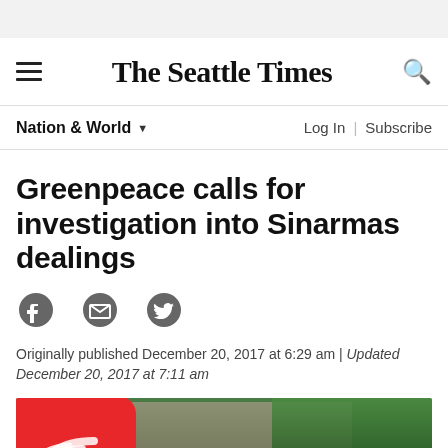The Seattle Times
Greenpeace calls for investigation into Sinarmas dealings
Originally published December 20, 2017 at 6:29 am | Updated December 20, 2017 at 7:11 am
[Figure (photo): Outdoor photo showing red Sinarmas/APP logo sign with green trees and buildings in background]